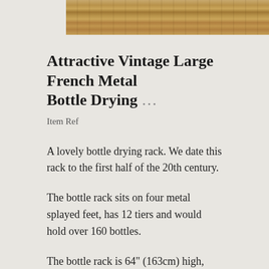[Figure (photo): Top portion of a wooden surface/plank with visible wood grain texture, cropped at the top of the page]
Attractive Vintage Large French Metal Bottle Drying ...
Item Ref
A lovely bottle drying rack. We date this rack to the first half of the 20th century.
The bottle rack sits on four metal splayed feet, has 12 tiers and would hold over 160 bottles.
The bottle rack is 64" (163cm) high, with a diameter of 23" (59cm) at the base.
This is a partial line cut off at the bottom of the page...